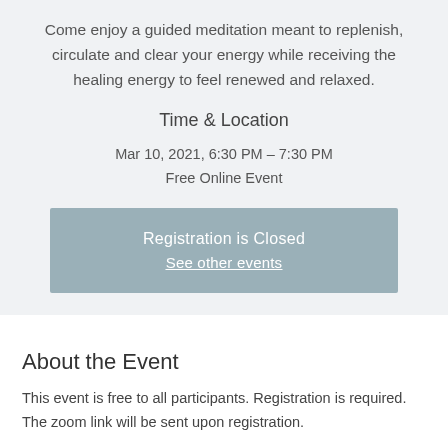Come enjoy a guided meditation meant to replenish, circulate and clear your energy while receiving the healing energy to feel renewed and relaxed.
Time & Location
Mar 10, 2021, 6:30 PM – 7:30 PM
Free Online Event
Registration is Closed
See other events
About the Event
This event is free to all participants. Registration is required. The zoom link will be sent upon registration.